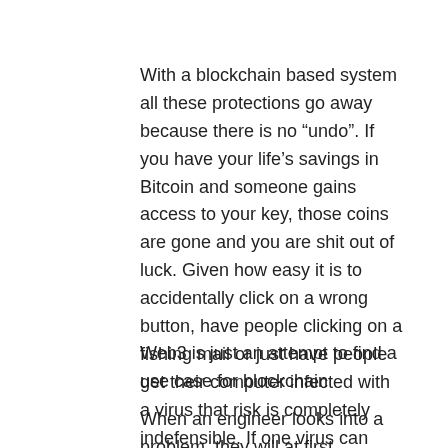With a blockchain based system all these protections go away because there is no “undo”. If you have your life’s savings in Bitcoin and someone gains access to your key, those coins are gone and you are shit out of luck. Given how easy it is to accidentally click on a wrong button, have people clicking on a fishing mail or just have people get their computer infected with a virus that risk is completely indefensible. If one virus can wipe out all your assets with no way to correct that mistake, that’s not a world we should ever want. We need more protections for people, not fewer.
Web3 is just an attempt to find a use case for blockchain
When an engineer looks into a problem, they will at first